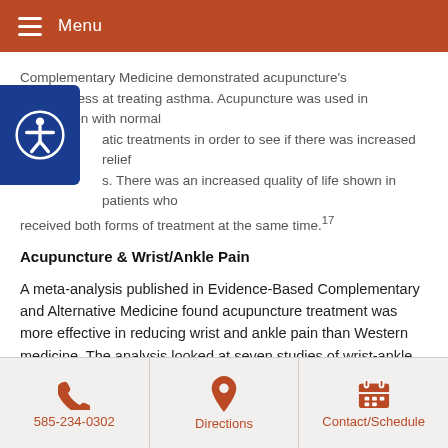Menu
Complementary Medicine demonstrated acupuncture's effectiveness at treating asthma. Acupuncture was used in conjunction with normal atic treatments in order to see if there was increased relief s. There was an increased quality of life shown in patients who received both forms of treatment at the same time.17
Acupuncture & Wrist/Ankle Pain
A meta-analysis published in Evidence-Based Complementary and Alternative Medicine found acupuncture treatment was more effective in reducing wrist and ankle pain than Western medicine. The analysis looked at seven studies of wrist-ankle acupuncture that included 723 participants. The authors stated that wrist-ankle acupuncture is a safe therapy that has helped patients relieve pain.18
585-234-0302 | Directions | Contact/Schedule